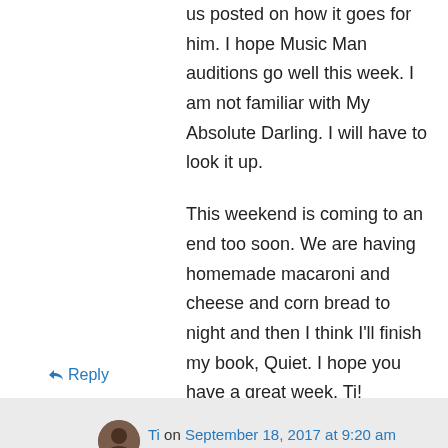us posted on how it goes for him. I hope Music Man auditions go well this week. I am not familiar with My Absolute Darling. I will have to look it up.

This weekend is coming to an end too soon. We are having homemade macaroni and cheese and corn bread to night and then I think I'll finish my book, Quiet. I hope you have a great week, Ti!
↳ Reply
Ti on September 18, 2017 at 9:20 am
Does your husband work for Disney? Evan is pretty excited. It comes at a very good